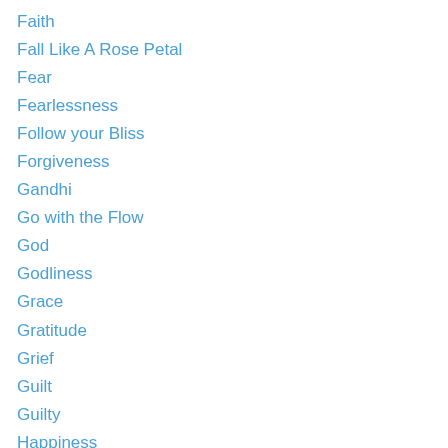Faith
Fall Like A Rose Petal
Fear
Fearlessness
Follow your Bliss
Forgiveness
Gandhi
Go with the Flow
God
Godliness
Grace
Gratitude
Grief
Guilt
Guilty
Happiness
Help Yourself to Happiness
Humility
Impermanence
Inner Peace